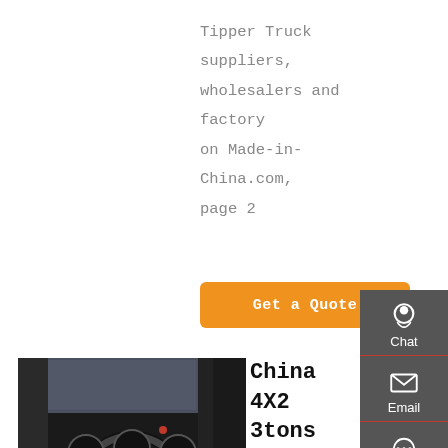Tipper Truck suppliers, wholesalers and factory on Made-in-China.com, page 2
Get a Quote
[Figure (photo): Interior cab view of a truck showing steering wheel and dashboard]
China 4X2 3tons Mini Dump Truck Tipper Euro 5 Light …
China 4X2 3tons Mini Dump Truck Tipper Euro 5 Light Truck, Find details about China